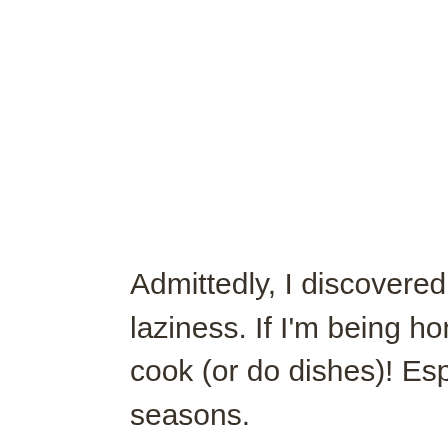Admittedly, I discovered charcuterie platters for dinner out of laziness. If I'm being honest, sometimes I just don't want to cook (or do dishes)! Especially in the summer or busy holiday seasons.
I discovered that a charcuterie platter can be as simple or complicated of a meal as you would like, using a wide variety of meats, cheese, pickles, veggies, fruits, nuts, and spreads.